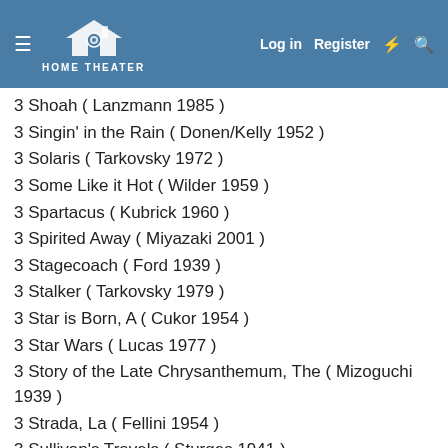HOME THEATER — Log in | Register
3 Shoah ( Lanzmann 1985 )
3 Singin' in the Rain ( Donen/Kelly 1952 )
3 Solaris ( Tarkovsky 1972 )
3 Some Like it Hot ( Wilder 1959 )
3 Spartacus ( Kubrick 1960 )
3 Spirited Away ( Miyazaki 2001 )
3 Stagecoach ( Ford 1939 )
3 Stalker ( Tarkovsky 1979 )
3 Star is Born, A ( Cukor 1954 )
3 Star Wars ( Lucas 1977 )
3 Story of the Late Chrysanthemum, The ( Mizoguchi 1939 )
3 Strada, La ( Fellini 1954 )
3 Sullivan's Travels ( Sturges 1941 )
3 Sunrise ( Murnau 1927 )
3 Sunset Blvd. ( Wilder 1950 )
3 Sweet Smell of Success ( Mackendrick 1957 )
3 Taste of Cherry ( Kiarostami 1997 )